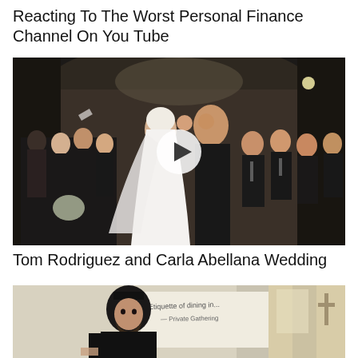Reacting To The Worst Personal Finance Channel On You Tube
[Figure (photo): Wedding photo of a couple kissing at the altar, surrounded by bridesmaids in black dresses and groomsmen in black suits, inside a stone church venue. A white circular play button overlay is centered on the image.]
Tom Rodriguez and Carla Abellana Wedding
[Figure (photo): A bearded man wearing a black hat and robe stands in front of a whiteboard with handwriting that appears to say 'Etiquette of dining in...' with additional handwritten notes. A cross and curtained window are visible in the background right.]